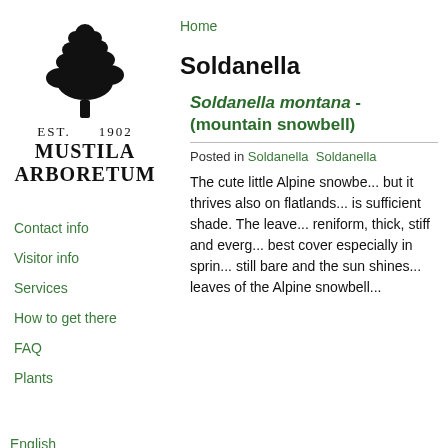[Figure (logo): Mustila Arboretum logo: black silhouette of a pine tree above text 'EST. 1902 MUSTILA ARBORETUM']
Contact info
Visitor info
Services
How to get there
FAQ
Plants
English
Suomi
Русский
Home
Soldanella
Soldanella montana - snowbell)
Posted in Soldanella Soldanella...
The cute little Alpine snowbe... but it thrives also on flatlands... is sufficient shade. The leave... reniform, thick, stiff and everg... best cover especially in sprin... still bare and the sun shines... leaves of the Alpine snowbell...